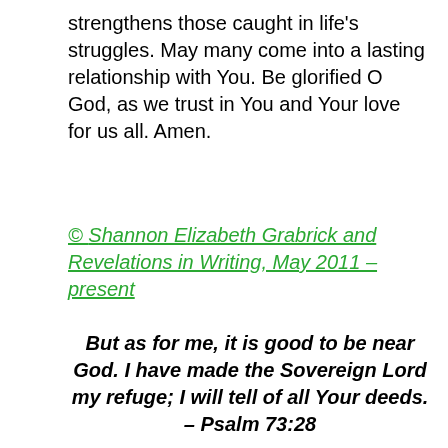strengthens those caught in life's struggles. May many come into a lasting relationship with You. Be glorified O God, as we trust in You and Your love for us all. Amen.
© Shannon Elizabeth Grabrick and Revelations in Writing, May 2011 – present
But as for me, it is good to be near God. I have made the Sovereign Lord my refuge; I will tell of all Your deeds. – Psalm 73:28